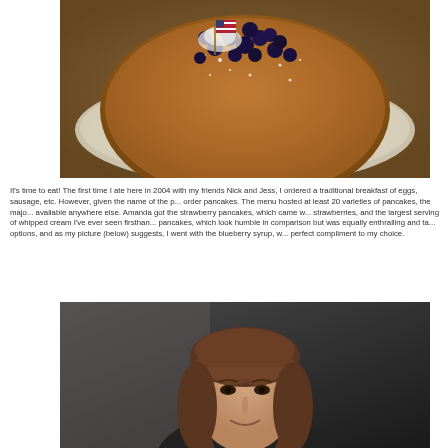[Figure (photo): A stack of pancakes topped with blueberries and powdered sugar, with a small American flag toothpick decoration, on a white plate.]
It's time to eat!  The first time I ate here  in 2004 with my friends Nick and Jess, I ordered a traditional breakfast of eggs, sausage, etc.  However, given the name of the place, I decided to order pancakes.  The menu hosted at least 20 varieties of pancakes, the majority of which aren't available anywhere else.  Amanda got the strawberry pancakes, which came with fresh strawberries, and the largest serving of whipped cream I've ever seen firsthand.  I got the plain pancakes, which look humble in comparison but was equally enthralling and tasty.  I had two syrup options, and as my picture (below) suggests, I went with the blueberry syrup, which was the perfect compliment to my choice.
[Figure (photo): A woman with shoulder-length brown hair and bangs, smiling, wearing a dark top, photographed indoors.]